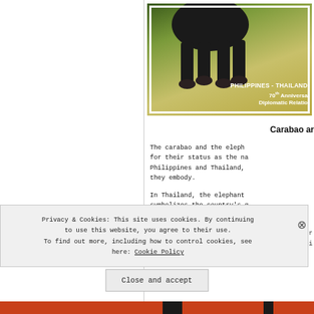[Figure (photo): Postal stamp image showing the lower legs and hooves of a carabao (water buffalo) against a golden-green background, with text overlay reading 'PHILIPPINES - THAILAND 70th Anniversary Diplomatic Relations']
Carabao an
The carabao and the eleph for their status as the na Philippines and Thailand, they embody.
In Thailand, the elephant symbolizes the country's g
Privacy & Cookies: This site uses cookies. By continuing to use this website, you agree to their use. To find out more, including how to control cookies, see here: Cookie Policy
Close and accept